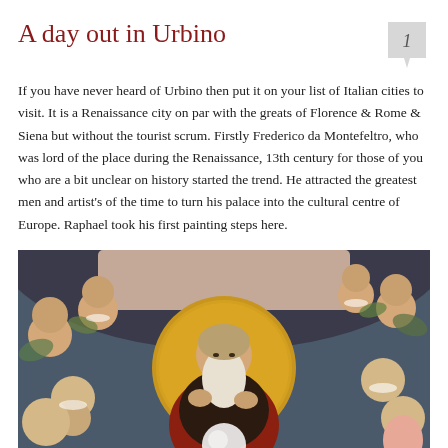A day out in Urbino
If you have never heard of Urbino then put it on your list of Italian cities to visit. It is a Renaissance city on par with the greats of Florence & Rome & Siena but without the tourist scrum. Firstly Frederico da Montefeltro, who was lord of the place during the Renaissance, 13th century for those of you who are a bit unclear on history started the trend. He attracted the greatest men and artist's of the time to turn his palace into the cultural centre of Europe. Raphael took his first painting steps here.
[Figure (photo): Renaissance painting depicting an elderly bearded man (likely God the Father) surrounded by cherubic angels/putti, with a golden halo and holding a sphere, in the style of Italian Renaissance art]